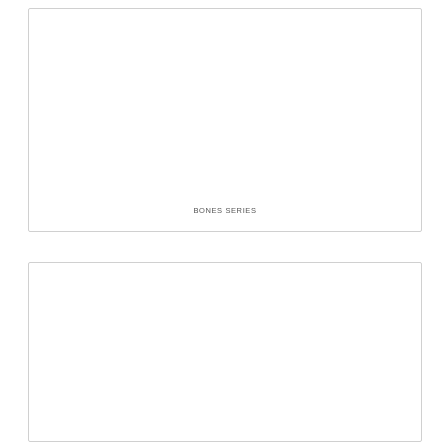[Figure (other): Large white rectangular box with a light gray border, nearly empty, containing the text 'BONES SERIES' centered near the bottom.]
BONES SERIES
[Figure (other): Large white rectangular box with a light gray border, empty content area.]